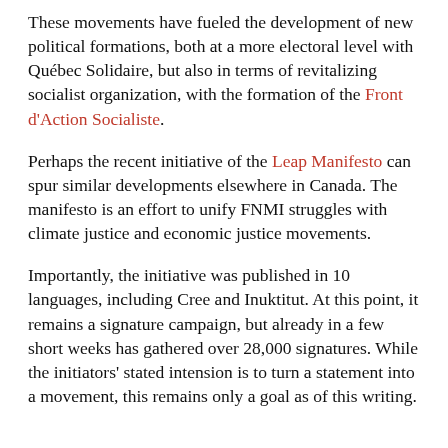These movements have fueled the development of new political formations, both at a more electoral level with Québec Solidaire, but also in terms of revitalizing socialist organization, with the formation of the Front d'Action Socialiste.
Perhaps the recent initiative of the Leap Manifesto can spur similar developments elsewhere in Canada. The manifesto is an effort to unify FNMI struggles with climate justice and economic justice movements.
Importantly, the initiative was published in 10 languages, including Cree and Inuktitut. At this point, it remains a signature campaign, but already in a few short weeks has gathered over 28,000 signatures. While the initiators' stated intension is to turn a statement into a movement, this remains only a goal as of this writing.